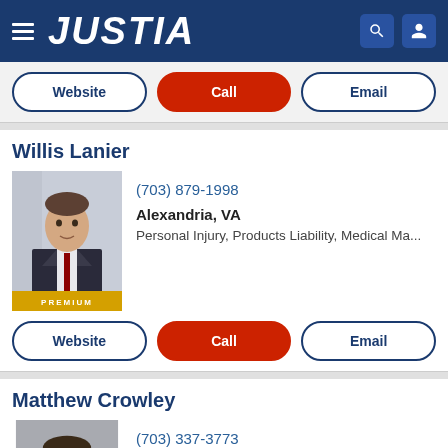JUSTIA
Website | Call | Email
Willis Lanier
(703) 879-1998
Alexandria, VA
Personal Injury, Products Liability, Medical Ma...
Website | Call | Email
Matthew Crowley
(703) 337-3773
Fairfax, VA
Criminal Law, DUI & DWI, Juvenile Law, Traffic ...